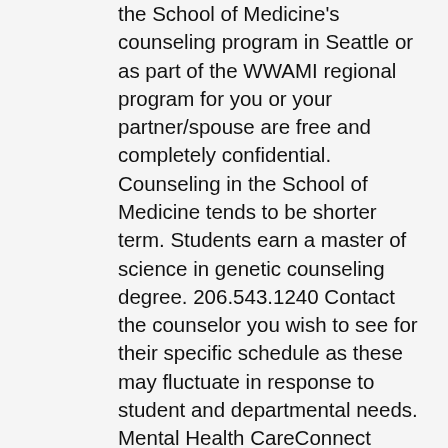the School of Medicine's counseling program in Seattle or as part of the WWAMI regional program for you or your partner/spouse are free and completely confidential. Counseling in the School of Medicine tends to be shorter term. Students earn a master of science in genetic counseling degree. 206.543.1240 Contact the counselor you wish to see for their specific schedule as these may fluctuate in response to student and departmental needs. Mental Health CareConnect (MHCC) is a free service offered by UW Medicine's Department of Psychiatry and Behavioral Sciences that provides free consultation via telephone about non-crisis mental health questions and referrals. Washington MHCC is available for Boeing employees and their families who live in Washington. As a result of feedback from students and the hard work of the UW Student Mental Health Task Force, UW is working toward offering streamlined mental health services to students through one phone number. The University of Washington Family Medicine Residency recognizes that medical training is a time of stress. Individual counseling is an opportunity to improve your mental health